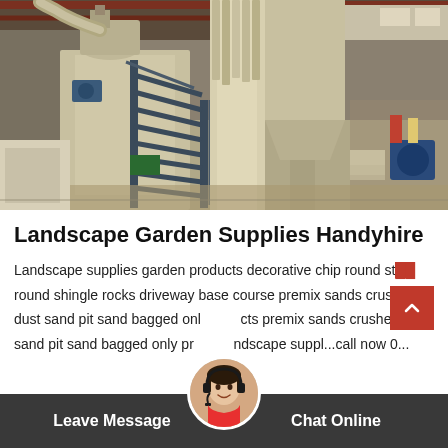[Figure (photo): Industrial factory interior showing large beige/cream colored processing machinery with metal staircase, conveyor systems, hoppers, and silos inside a warehouse with steel roof structure. Workers visible in background near trucks.]
Landscape Garden Supplies Handyhire
Landscape supplies garden products decorative chip round st... round shingle rocks driveway base course premix sands crus... dust sand pit sand bagged onl...cts premix sands crusher dust sand pit sand bagged only pr...ndscape suppl...call now 0...
Leave Message   Chat Online